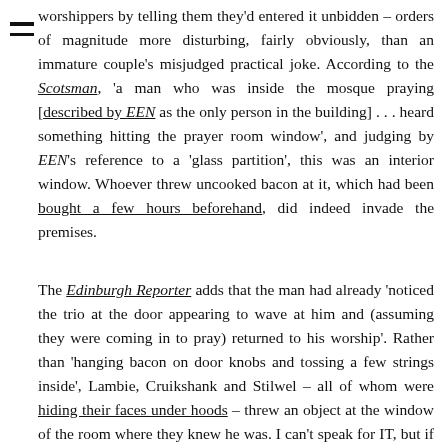worshippers by telling them they'd entered it unbidden – orders of magnitude more disturbing, fairly obviously, than an immature couple's misjudged practical joke. According to the Scotsman, 'a man who was inside the mosque praying [described by EEN as the only person in the building] . . . heard something hitting the prayer room window', and judging by EEN's reference to a 'glass partition', this was an interior window. Whoever threw uncooked bacon at it, which had been bought a few hours beforehand, did indeed invade the premises.
The Edinburgh Reporter adds that the man had already 'noticed the trio at the door appearing to wave at him and (assuming they were coming in to pray) returned to his worship'. Rather than 'hanging bacon on door knobs and tossing a few strings inside', Lambie, Cruikshank and Stilwel – all of whom were hiding their faces under hoods – threw an object at the window of the room where they knew he was. I can't speak for IT, but if three hooded